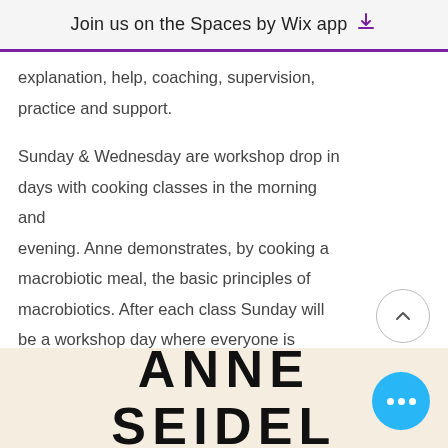Join us on the Spaces by Wix app
explanation, help, coaching, supervision, practice and support.
Sunday & Wednesday are workshop drop in days with cooking classes in the morning and evening. Anne demonstrates, by cooking a macrobiotic meal, the basic principles of macrobiotics. After each class Sunday will be a workshop day where everyone is preparing foods for a nice buffet in the end for the party. You can invite friends and family to join the feast for 10€.
ANNE SEIDEL